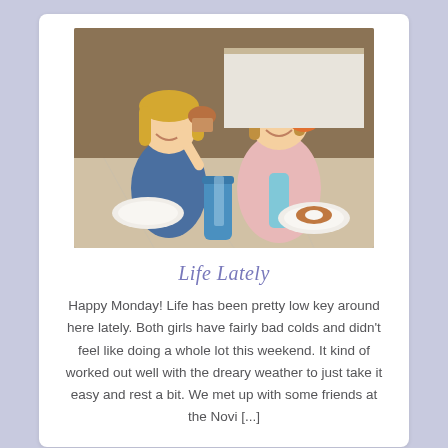[Figure (photo): Two young girls sitting at a kitchen counter smiling. One holds up a muffin and the other holds an orange stuffed animal. There are plates and drinks on the counter.]
Life Lately
Happy Monday! Life has been pretty low key around here lately. Both girls have fairly bad colds and didn't feel like doing a whole lot this weekend. It kind of worked out well with the dreary weather to just take it easy and rest a bit. We met up with some friends at the Novi [...]